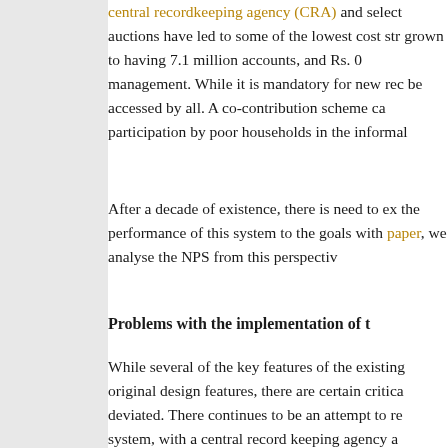central recordkeeping agency (CRA) and select auctions have led to some of the lowest cost str grown to having 7.1 million accounts, and Rs. 0 management. While it is mandatory for new rec be accessed by all. A co-contribution scheme ca participation by poor households in the informal
After a decade of existence, there is need to ex the performance of this system to the goals with paper, we analyse the NPS from this perspectiv
Problems with the implementation of t
While several of the key features of the existing original design features, there are certain critica deviated. There continues to be an attempt to re system, with a central record keeping agency a managers. However, the NPS has several flaws